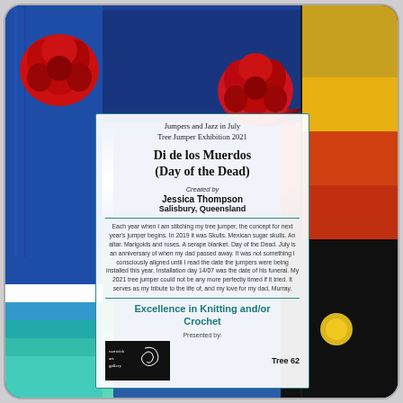[Figure (photo): Photo of a colourful crochet tree jumper installation with red crocheted flowers on a blue knitted background, with a label card in the centre. Right side shows multi-coloured crochet in orange, yellow, and dark tones.]
Jumpers and Jazz in July
Tree Jumper Exhibition 2021
Di de los Muerdos
(Day of the Dead)
Created by
Jessica Thompson
Salisbury, Queensland
Each year when I am stitching my tree jumper, the concept for next year's jumper begins. In 2019 it was Skulls. Mexican sugar skulls. An altar. Marigolds and roses. A serape blanket. Day of the Dead. July is an anniversary of when my dad passed away. It was not something I consciously aligned until I read the date the jumpers were being installed this year. Installation day 14/07 was the date of his funeral. My 2021 tree jumper could not be any more perfectly timed if it tried. It serves as my tribute to the life of, and my love for my dad, Murray.
Excellence in Knitting and/or Crochet
Presented by:
Tree 62